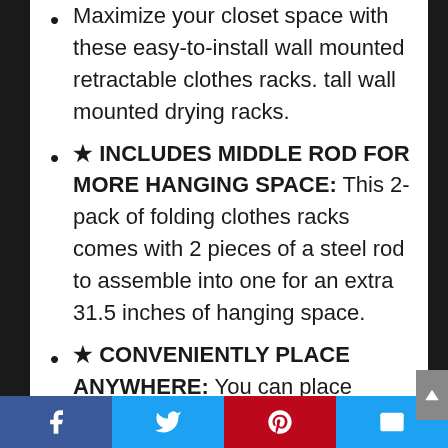Maximize your closet space with these easy-to-install wall mounted retractable clothes racks. tall wall mounted drying racks.
★ INCLUDES MIDDLE ROD FOR MORE HANGING SPACE: This 2-pack of folding clothes racks comes with 2 pieces of a steel rod to assemble into one for an extra 31.5 inches of hanging space.
★ CONVENIENTLY PLACE ANYWHERE: You can place these clothing racks in your laundry room to hang wet clothes to dry, near the entryway to hang guests' coats, in